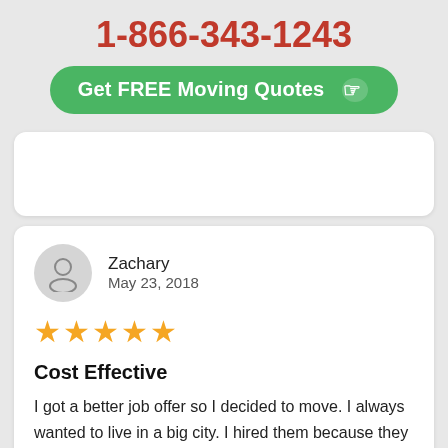1-866-343-1243
Get FREE Moving Quotes ☞
Zachary
May 23, 2018
★★★★★
Cost Effective
I got a better job offer so I decided to move. I always wanted to live in a big city. I hired them because they have a reputation of being efficient and cost effective. Being fresh out of medical school, I could not afford a